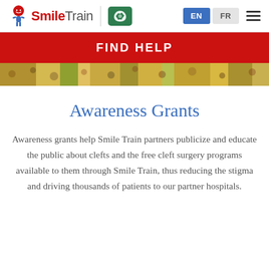SmileTrain | EN FR
FIND HELP
[Figure (photo): Colorful crowd/event photo strip at top of page below FIND HELP banner]
Awareness Grants
Awareness grants help Smile Train partners publicize and educate the public about clefts and the free cleft surgery programs available to them through Smile Train, thus reducing the stigma and driving thousands of patients to our partner hospitals.